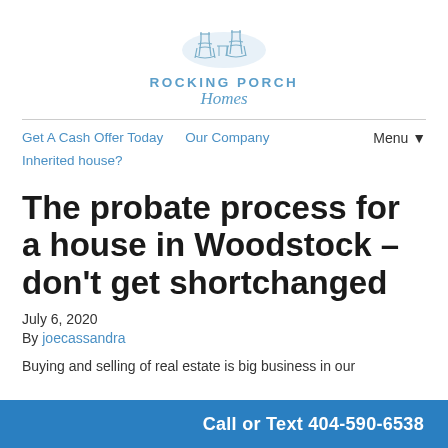[Figure (logo): Rocking Porch Homes logo with rocking chairs illustration and text in blue]
Get A Cash Offer Today   Our Company   Inherited house?   Menu ▼
The probate process for a house in Woodstock – don't get shortchanged
July 6, 2020
By joecassandra
Buying and selling of real estate is big business in our...
Call or Text 404-590-6538